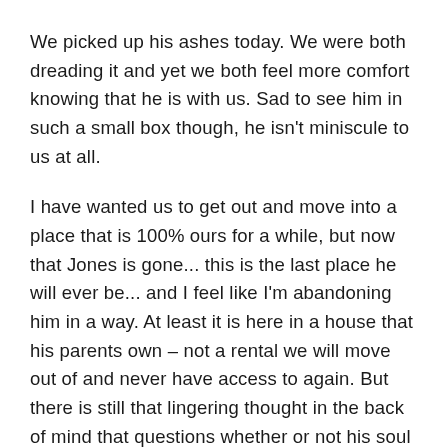We picked up his ashes today. We were both dreading it and yet we both feel more comfort knowing that he is with us. Sad to see him in such a small box though, he isn't miniscule to us at all.
I have wanted us to get out and move into a place that is 100% ours for a while, but now that Jones is gone... this is the last place he will ever be... and I feel like I'm abandoning him in a way. At least it is here in a house that his parents own – not a rental we will move out of and never have access to again. But there is still that lingering thought in the back of mind that questions whether or not his soul will follow us. It sounds silly I am sure, but not if you have the emotional range of a teaspoon full of salt like I do.
I miss him. We miss him. Our lives, our relationship has